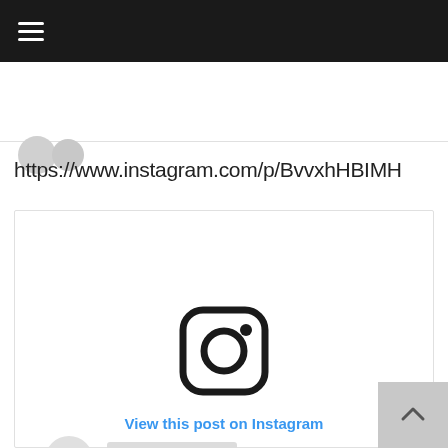[Figure (screenshot): Dark navigation bar with hamburger menu icon (three horizontal white lines) on black background]
[Figure (screenshot): Partial social media post card showing two overlapping avatar circles and faded text/icons]
https://www.instagram.com/p/BvvxhHBIMH
[Figure (screenshot): Instagram embedded post loading placeholder. Shows a grey avatar circle with two grey placeholder lines for username/handle, an Instagram camera logo icon in the center, and a 'View this post on Instagram' blue link below.]
View this post on Instagram